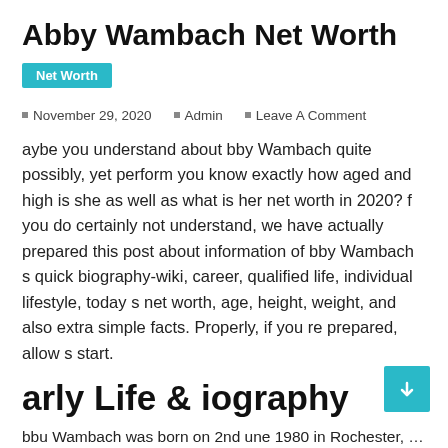Abby Wambach Net Worth
Net Worth
November 29, 2020  Admin  Leave A Comment
aybe you understand about bby Wambach quite possibly, yet perform you know exactly how aged and high is she as well as what is her net worth in 2020? f you do certainly not understand, we have actually prepared this post about information of bby Wambach s quick biography-wiki, career, qualified life, individual lifestyle, today s net worth, age, height, weight, and also extra simple facts. Properly, if you re prepared, allow s start.
arly Life & iography
bbu Wambach was born on 2nd une 1980 in Rochester, New York, in